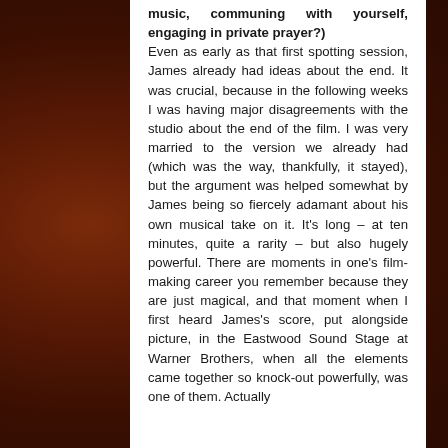music, communing with yourself, engaging in private prayer?) Even as early as that first spotting session, James already had ideas about the end. It was crucial, because in the following weeks I was having major disagreements with the studio about the end of the film. I was very married to the version we already had (which was the way, thankfully, it stayed), but the argument was helped somewhat by James being so fiercely adamant about his own musical take on it. It's long – at ten minutes, quite a rarity – but also hugely powerful. There are moments in one's film-making career you remember because they are just magical, and that moment when I first heard James's score, put alongside picture, in the Eastwood Sound Stage at Warner Brothers, when all the elements came together so knock-out powerfully, was one of them. Actually